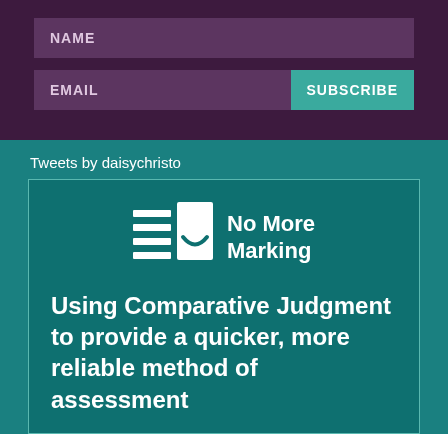NAME
EMAIL
SUBSCRIBE
Tweets by daisychristo
[Figure (logo): No More Marking logo with stacked lines and book icon]
Using Comparative Judgment to provide a quicker, more reliable method of assessment